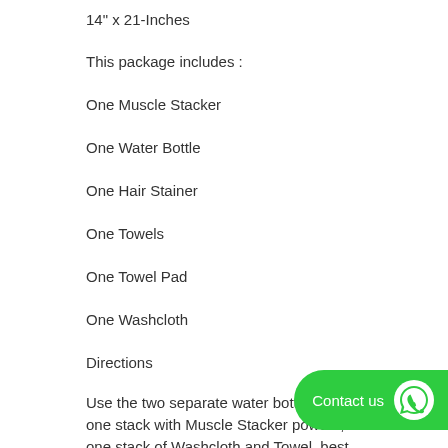14" x 21-Inches
This package includes :
One Muscle Stacker
One Water Bottle
One Hair Stainer
One Towels
One Towel Pad
One Washcloth
Directions
Use the two separate water bottles to fill one stack with Muscle Stacker powder, and one stack of Washcloth and Towel, best ...